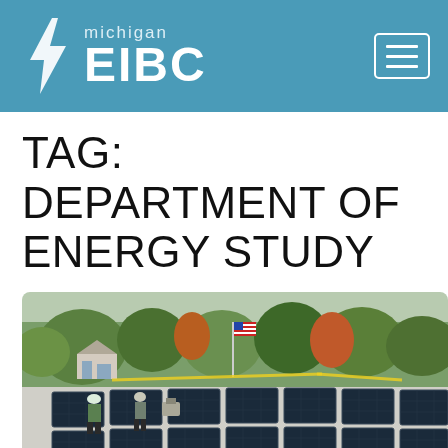michigan EIBC
TAG: DEPARTMENT OF ENERGY STUDY
[Figure (photo): Aerial view of workers standing on a rooftop covered with solar panels, with a neighborhood, trees, and an American flag visible in the background.]